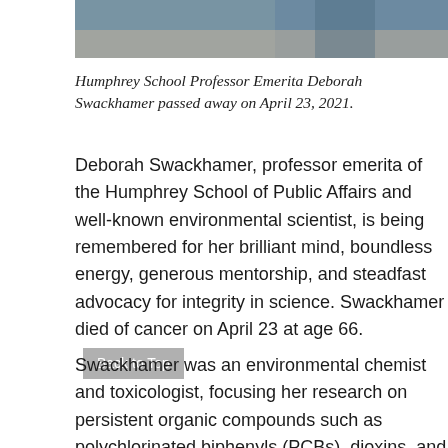[Figure (photo): Partial photo of Humphrey School Professor Emerita Deborah Swackhamer, cropped at top of page]
Humphrey School Professor Emerita Deborah Swackhamer passed away on April 23, 2021.
Deborah Swackhamer, professor emerita of the Humphrey School of Public Affairs and well-known environmental scientist, is being remembered for her brilliant mind, boundless energy, generous mentorship, and steadfast advocacy for integrity in science. Swackhamer died of cancer on April 23 at age 66.
Swackhamer was an environmental chemist and toxicologist, focusing her research on persistent organic compounds such as polychlorinated biphenyls (PCBs), dioxins, and pesticides, that